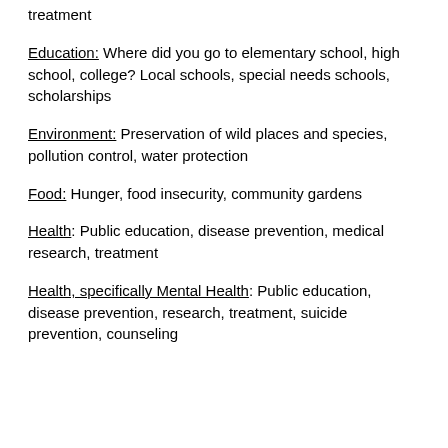treatment
Education: Where did you go to elementary school, high school, college? Local schools, special needs schools, scholarships
Environment: Preservation of wild places and species, pollution control, water protection
Food: Hunger, food insecurity, community gardens
Health: Public education, disease prevention, medical research, treatment
Health, specifically Mental Health: Public education, disease prevention, research, treatment, suicide prevention, counseling